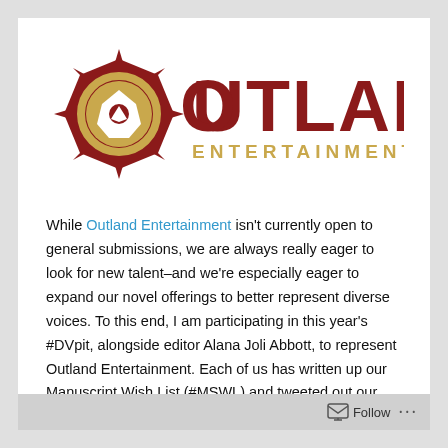[Figure (logo): Outland Entertainment logo — dark red stylized sun/compass icon with gold circle in center, text 'OUTLAND' in large dark red letters and 'ENTERTAINMENT' in gold below]
While Outland Entertainment isn't currently open to general submissions, we are always really eager to look for new talent–and we're especially eager to expand our novel offerings to better represent diverse voices. To this end, I am participating in this year's #DVpit, alongside editor Alana Joli Abbott, to represent Outland Entertainment. Each of us has written up our Manuscript Wish List (#MSWL) and tweeted out our short versions, but here they are in full.
Follow ...